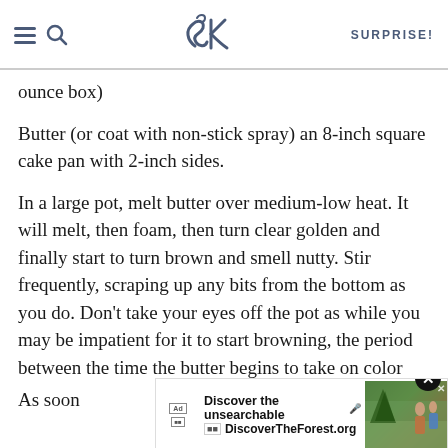SK SURPRISE!
ounce box)
Butter (or coat with non-stick spray) an 8-inch square cake pan with 2-inch sides.
In a large pot, melt butter over medium-low heat. It will melt, then foam, then turn clear golden and finally start to turn brown and smell nutty. Stir frequently, scraping up any bits from the bottom as you do. Don’t take your eyes off the pot as while you may be impatient for it to start browning, the period between the time the butter begins to take on color and the point where it burns is often less than a minute.
[Figure (screenshot): Advertisement overlay showing 'Discover the unsearchable / DiscoverTheForest.org' with forest photo and close button]
As soon… the